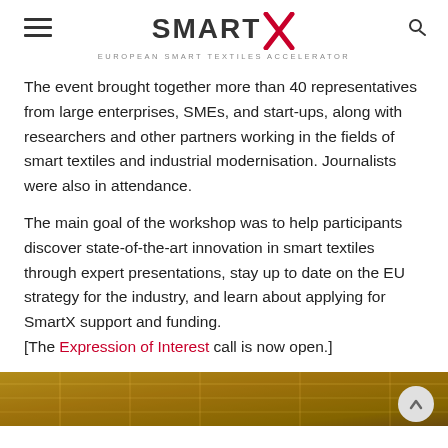SMART X — EUROPEAN SMART TEXTILES ACCELERATOR
The event brought together more than 40 representatives from large enterprises, SMEs, and start-ups, along with researchers and other partners working in the fields of smart textiles and industrial modernisation. Journalists were also in attendance.
The main goal of the workshop was to help participants discover state-of-the-art innovation in smart textiles through expert presentations, stay up to date on the EU strategy for the industry, and learn about applying for SmartX support and funding. [The Expression of Interest call is now open.]
[Figure (photo): Partial view of a photograph showing golden/brown tones, likely textiles or books, cropped at bottom of page]